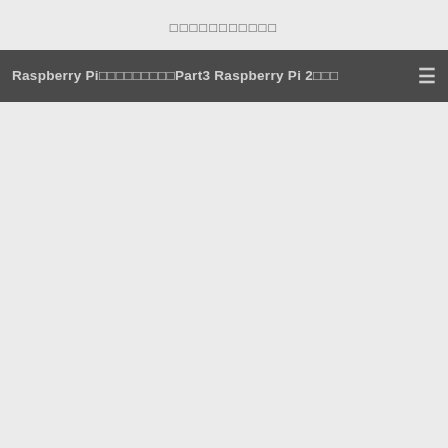□□□□□□□□□□□
Raspberry Pi□□□□□□□□□Part3 Raspberry Pi 2□□□